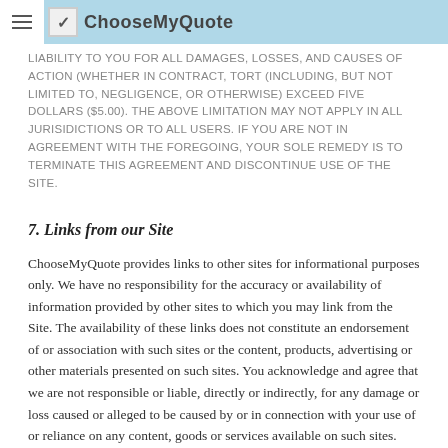ChooseMyQuote
LIABILITY TO YOU FOR ALL DAMAGES, LOSSES, AND CAUSES OF ACTION (WHETHER IN CONTRACT, TORT (INCLUDING, BUT NOT LIMITED TO, NEGLIGENCE, OR OTHERWISE) EXCEED FIVE DOLLARS ($5.00). THE ABOVE LIMITATION MAY NOT APPLY IN ALL JURISIDICTIONS OR TO ALL USERS. IF YOU ARE NOT IN AGREEMENT WITH THE FOREGOING, YOUR SOLE REMEDY IS TO TERMINATE THIS AGREEMENT AND DISCONTINUE USE OF THE SITE.
7. Links from our Site
ChooseMyQuote provides links to other sites for informational purposes only. We have no responsibility for the accuracy or availability of information provided by other sites to which you may link from the Site. The availability of these links does not constitute an endorsement of or association with such sites or the content, products, advertising or other materials presented on such sites. You acknowledge and agree that we are not responsible or liable, directly or indirectly, for any damage or loss caused or alleged to be caused by or in connection with your use of or reliance on any content, goods or services available on such sites.